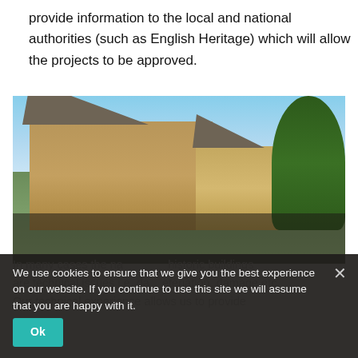provide information to the local and national authorities (such as English Heritage) which will allow the projects to be approved.
[Figure (photo): Photograph of a row of historic Cotswold stone cottages with slate roofs, ivy-covered porch, topiary conifers, and trees in the background under a blue sky.]
In many cases the nature of historic buildings are technical issues i.e. da eteriation, damage etc. Our technical experience allows us to provide
We use cookies to ensure that we give you the best experience on our website. If you continue to use this site we will assume that you are happy with it.